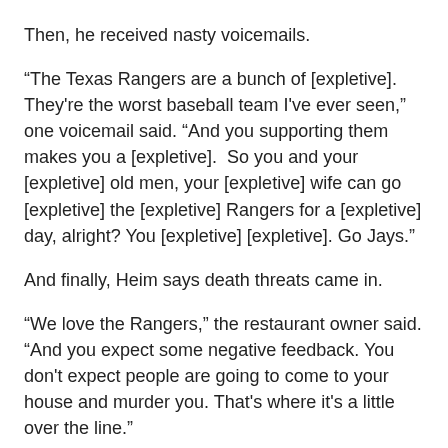Then, he received nasty voicemails.
“The Texas Rangers are a bunch of [expletive]. They're the worst baseball team I've ever seen,” one voicemail said. “And you supporting them makes you a [expletive].  So you and your [expletive] old men, your [expletive] wife can go [expletive] the [expletive] Rangers for a [expletive] day, alright? You [expletive] [expletive]. Go Jays.”
And finally, Heim says death threats came in.
"We love the Rangers,” the restaurant owner said. “And you expect some negative feedback. You don't expect people are going to come to your house and murder you. That's where it's a little over the line."